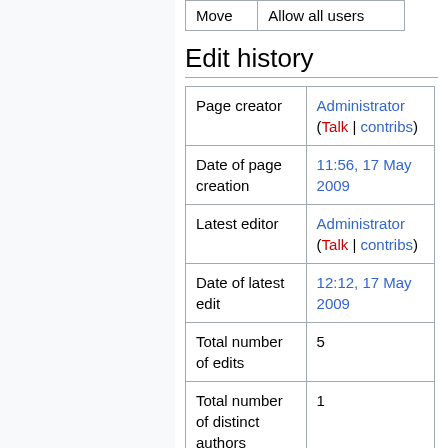|  |  |
| --- | --- |
| Move | Allow all users |
Edit history
|  |  |
| --- | --- |
| Page creator | Administrator (Talk | contribs) |
| Date of page creation | 11:56, 17 May 2009 |
| Latest editor | Administrator (Talk | contribs) |
| Date of latest edit | 12:12, 17 May 2009 |
| Total number of edits | 5 |
| Total number of distinct authors | 1 |
| Recent number of edits (within | 0 |